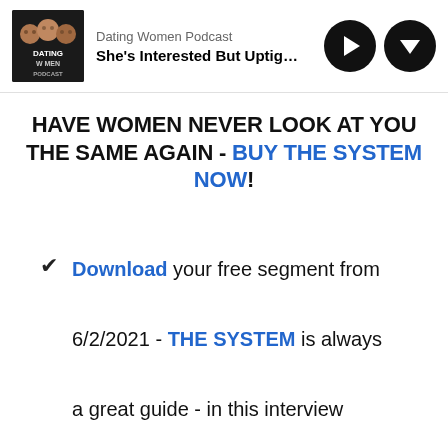Dating Women Podcast - She's Interested But Uptight - What S
HAVE WOMEN NEVER LOOK AT YOU THE SAME AGAIN - BUY THE SYSTEM NOW!
Download your free segment from 6/2/2021 - THE SYSTEM is always a great guide - in this interview you'll hear Doc detail key concepts including how to get women to